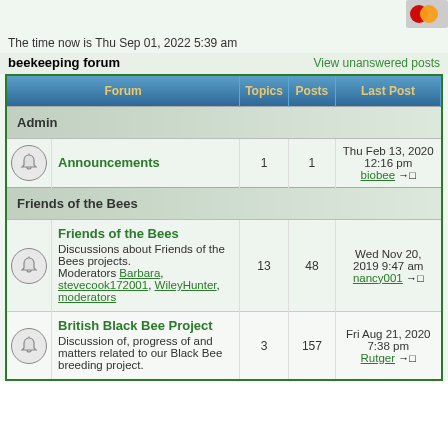The time now is Thu Sep 01, 2022 5:39 am
beekeeping forum
| Forum | Topics | Posts | Last Post |
| --- | --- | --- | --- |
| Admin |  |  |  |
| Announcements | 1 | 1 | Thu Feb 13, 2020 12:16 pm biobee |
| Friends of the Bees |  |  |  |
| Friends of the Bees - Discussions about Friends of the Bees projects. Moderators Barbara, stevecook172001, WileyHunter, moderators | 13 | 48 | Wed Nov 20, 2019 9:47 am nancy001 |
| British Black Bee Project - Discussion of, progress of and matters related to our Black Bee breeding project. | 3 | 157 | Fri Aug 21, 2020 7:38 pm Rutger |